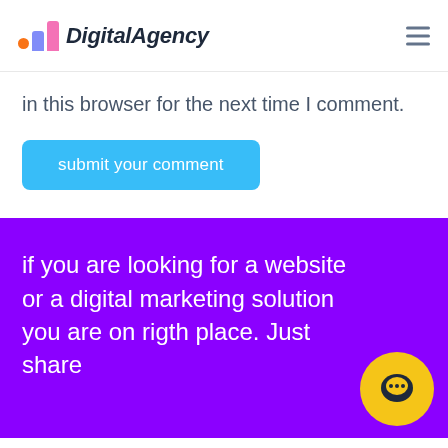DigitalAgency
in this browser for the next time I comment.
submit your comment
if you are looking for a website or a digital marketing solution you are on rigth place. Just share